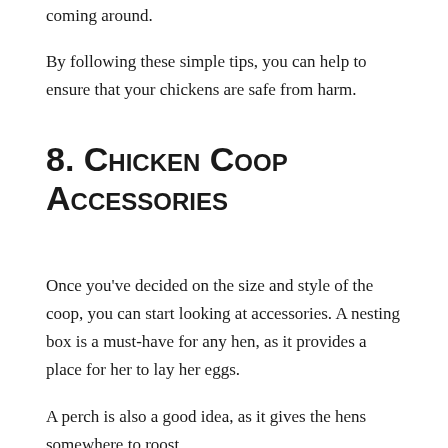coming around.
By following these simple tips, you can help to ensure that your chickens are safe from harm.
8. Chicken Coop Accessories
Once you've decided on the size and style of the coop, you can start looking at accessories. A nesting box is a must-have for any hen, as it provides a place for her to lay her eggs.
A perch is also a good idea, as it gives the hens somewhere to roost.